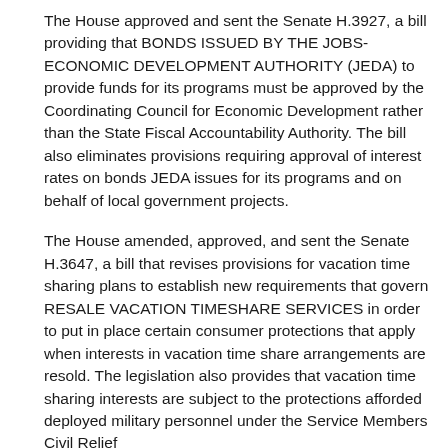The House approved and sent the Senate H.3927, a bill providing that BONDS ISSUED BY THE JOBS-ECONOMIC DEVELOPMENT AUTHORITY (JEDA) to provide funds for its programs must be approved by the Coordinating Council for Economic Development rather than the State Fiscal Accountability Authority. The bill also eliminates provisions requiring approval of interest rates on bonds JEDA issues for its programs and on behalf of local government projects.
The House amended, approved, and sent the Senate H.3647, a bill that revises provisions for vacation time sharing plans to establish new requirements that govern RESALE VACATION TIMESHARE SERVICES in order to put in place certain consumer protections that apply when interests in vacation time share arrangements are resold. The legislation also provides that vacation time sharing interests are subject to the protections afforded deployed military personnel under the Service Members Civil Relief